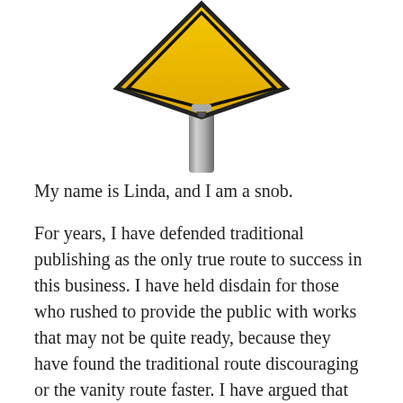[Figure (illustration): A yellow diamond-shaped warning/caution road sign (blank, no text) on a metal pole, viewed from the front. The sign has a thick black border and a dark bolt at the bottom center connecting to a gray cylindrical post.]
My name is Linda, and I am a snob.
For years, I have defended traditional publishing as the only true route to success in this business. I have held disdain for those who rushed to provide the public with works that may not be quite ready, because they have found the traditional route discouraging or the vanity route faster. I have argued that self publishing is a recourse for those who don't want to pay their dues, those who don't want to put the work into their manuscripts that is required to distinguished fact their intentions...